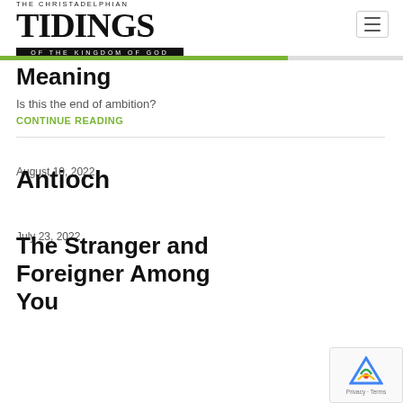THE CHRISTADELPHIAN TIDINGS OF THE KINGDOM OF GOD
Meaning
Is this the end of ambition?
CONTINUE READING
August 10, 2022
Antioch
July 23, 2022
The Stranger and Foreigner Among You